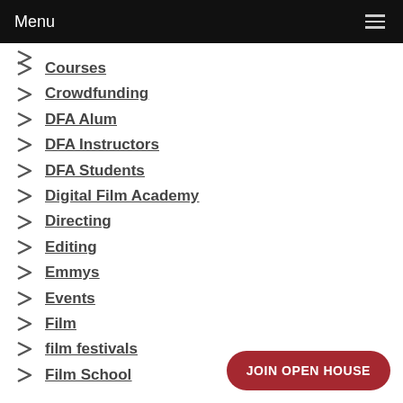Menu
Courses
Crowdfunding
DFA Alum
DFA Instructors
DFA Students
Digital Film Academy
Directing
Editing
Emmys
Events
Film
film festivals
Film School
JOIN OPEN HOUSE